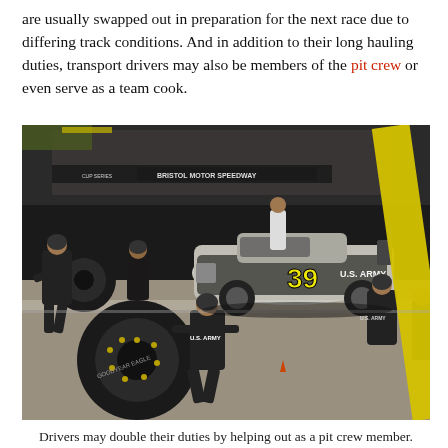are usually swapped out in preparation for the next race due to differing track conditions. And in addition to their long hauling duties, transport drivers may also be members of the pit crew or even serve as a team cook.
[Figure (photo): A NASCAR pit crew servicing car #39 (U.S. Army) at Bristol Motor Speedway during a night race. Crew members in black uniforms are changing tires, with one person rolling a tire away and others working on the car. A yellow safety wall post is visible in the upper right corner. The grandstands packed with spectators are visible in the background.]
Drivers may double their duties by helping out as a pit crew member.